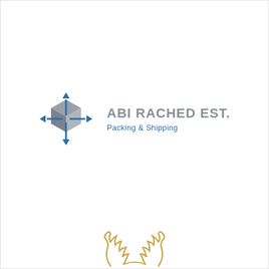[Figure (logo): Abi Rached Est. Packing & Shipping logo: a 3D grey cube with blue directional arrows pointing in four directions (compass style), next to the text 'ABI RACHED EST.' in grey bold and 'Packing & Shipping' in blue.]
[Figure (logo): Partial decorative emblem or seal logo visible at the bottom of the page, gold/tan colored laurel wreath style.]